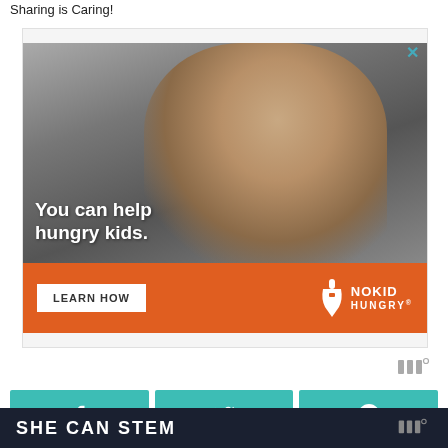Sharing is Caring!
[Figure (photo): Advertisement for No Kid Hungry featuring a child eating, with overlay text 'You can help hungry kids.' and a 'LEARN HOW' button on an orange bar with the No Kid Hungry logo.]
[Figure (logo): Wordmark logo (three vertical bars with degree symbol)]
[Figure (infographic): Three teal social sharing buttons: Facebook (f), Twitter (bird), Pinterest (p)]
SHE CAN STEM
[Figure (logo): Wordmark logo (three vertical bars with degree symbol) on dark background]